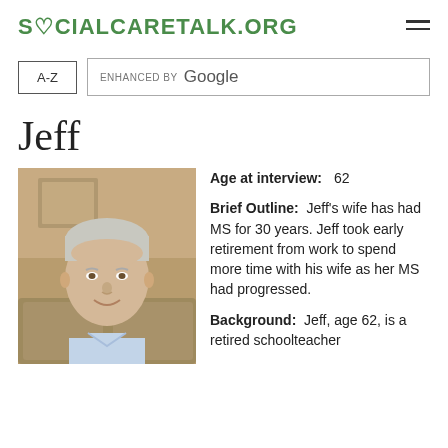SOCIALCARETALK.ORG
A-Z   ENHANCED BY Google
Jeff
[Figure (photo): Portrait photo of Jeff, a middle-aged man with grey hair, smiling, wearing a light blue shirt, seated in front of a floral sofa.]
Age at interview: 62
Brief Outline: Jeff's wife has had MS for 30 years. Jeff took early retirement from work to spend more time with his wife as her MS had progressed.
Background: Jeff, age 62, is a retired schoolteacher